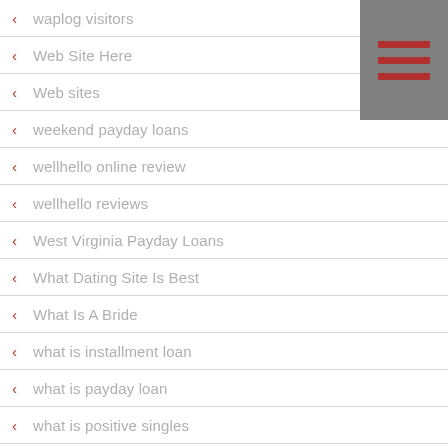[Figure (other): Hamburger menu icon in grey square with three dark red horizontal lines]
waplog visitors
Web Site Here
Web sites
weekend payday loans
wellhello online review
wellhello reviews
West Virginia Payday Loans
What Dating Site Is Best
What Is A Bride
what is installment loan
what is payday loan
what is positive singles